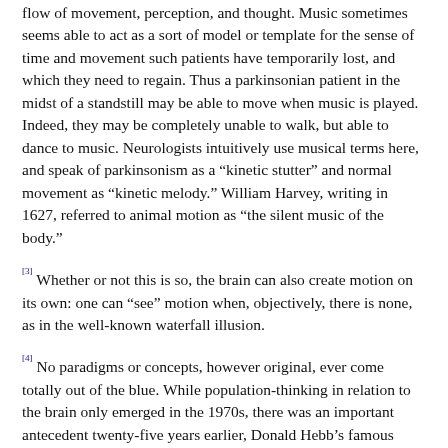flow of movement, perception, and thought. Music sometimes seems able to act as a sort of model or template for the sense of time and movement such patients have temporarily lost, and which they need to regain. Thus a parkinsonian patient in the midst of a standstill may be able to move when music is played. Indeed, they may be completely unable to walk, but able to dance to music. Neurologists intuitively use musical terms here, and speak of parkinsonism as a "kinetic stutter" and normal movement as "kinetic melody." William Harvey, writing in 1627, referred to animal motion as "the silent music of the body."
[3] Whether or not this is so, the brain can also create motion on its own: one can "see" motion when, objectively, there is none, as in the well-known waterfall illusion.
[4] No paradigms or concepts, however original, ever come totally out of the blue. While population-thinking in relation to the brain only emerged in the 1970s, there was an important antecedent twenty-five years earlier, Donald Hebb's famous 1949 book The Organization of Behavior. Hebb sought to bridge the great gap between neurophysiology and psychology with a general theory which could relate neural processes to mental ones, and, in particular, show how experience could modify, in effect shape, the brain. The potential for modification, Hebb felt, was vested in the synapses which connect brain cells to each other—a single cerebral